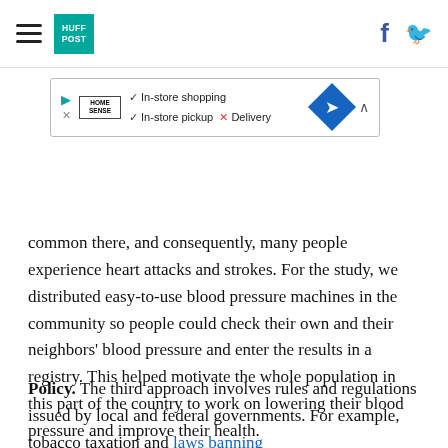HuffPost navigation logo with hamburger menu, Facebook and Twitter icons
[Figure (other): HomeSense advertisement banner showing In-store shopping checkmark, In-store pickup checkmark, Delivery X, with blue diamond navigation icon]
common there, and consequently, many people experience heart attacks and strokes. For the study, we distributed easy-to-use blood pressure machines in the community so people could check their own and their neighbors' blood pressure and enter the results in a registry. This helped motivate the whole population in this part of the country to work on lowering their blood pressure and improve their health.
Policy. The third approach involves rules and regulations issued by local and federal governments. For example, tobacco taxation and laws banning